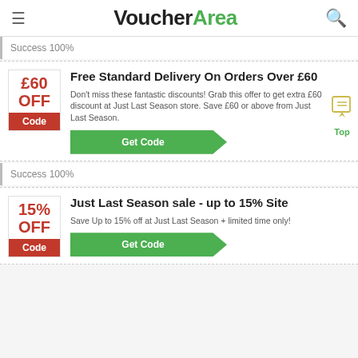VoucherArea
Success 100%
Free Standard Delivery On Orders Over £60
Don't miss these fantastic discounts! Grab this offer to get extra £60 discount at Just Last Season store. Save £60 or above from Just Last Season.
Get Code
Success 100%
Just Last Season sale - up to 15% Site
Save Up to 15% off at Just Last Season + limited time only!
Get Code